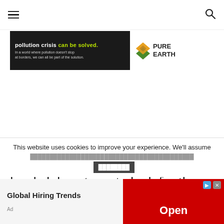Navigation bar with hamburger menu and search icon
[Figure (illustration): Pure Earth organization ad banner. Dark background on left with text: 'pollution crisis can be solved.' in white and green, subtext 'In a world where pollution doesn't stop at borders, we can all be part of the solution.' Right side shows Pure Earth logo (diamond shape in orange/gold/green) and 'PURE EARTH' text in bold.]
On Saturday, September 18th, I headed downtown to look for the blue tent with the bowl of macaroni &
This website uses cookies to improve your experience. We'll assume
[Figure (screenshot): Bottom advertisement with 'Global Hiring Trends' title on left with 'Ad' label, and a red 'Open' button on the right with ad attribution icons.]